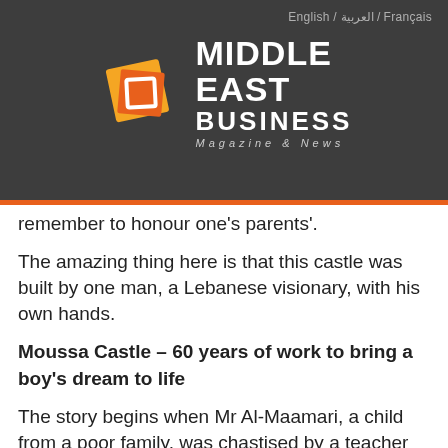English / العربية / Français
[Figure (logo): Middle East Business Magazine & News logo with orange/red square icon on dark grey background]
remember to honour one's parents'.
The amazing thing here is that this castle was built by one man, a Lebanese visionary, with his own hands.
Moussa Castle – 60 years of work to bring a boy's dream to life
The story begins when Mr Al-Maamari, a child from a poor family, was chastised by a teacher who told him that he was 'good for nothing' when he spotted him sketching his dream … a castle. This sketch survived and has been kept as a treasure by Mr Al-Maamari until today.